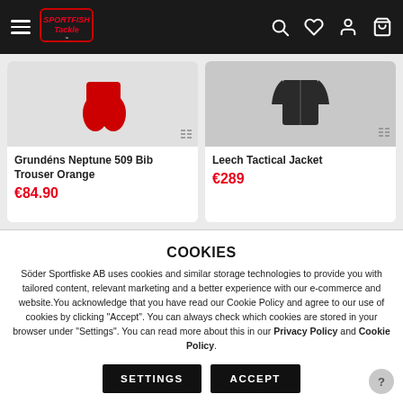Sportfish Tackle navigation header with hamburger menu, logo, search, wishlist, account, and cart icons
Grundéns Neptune 509 Bib Trouser Orange
€84.90
Leech Tactical Jacket
€289
COOKIES
Söder Sportfiske AB uses cookies and similar storage technologies to provide you with tailored content, relevant marketing and a better experience with our e-commerce and website.You acknowledge that you have read our Cookie Policy and agree to our use of cookies by clicking "Accept". You can always check which cookies are stored in your browser under "Settings". You can read more about this in our Privacy Policy and Cookie Policy.
SETTINGS
ACCEPT